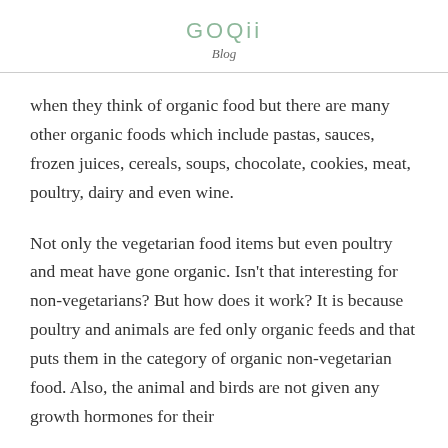GOQii
Blog
when they think of organic food but there are many other organic foods which include pastas, sauces, frozen juices, cereals, soups, chocolate, cookies, meat, poultry, dairy and even wine.
Not only the vegetarian food items but even poultry and meat have gone organic. Isn't that interesting for non-vegetarians? But how does it work? It is because poultry and animals are fed only organic feeds and that puts them in the category of organic non-vegetarian food. Also, the animal and birds are not given any growth hormones for their